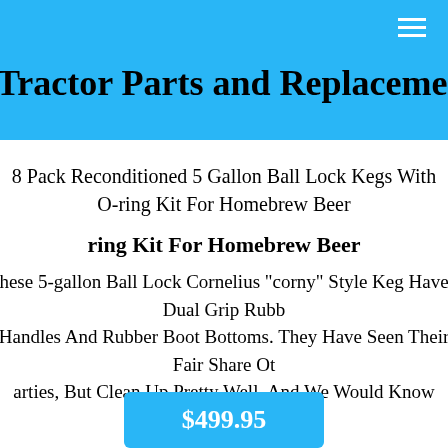Tractor Parts and Replacement
ring Kit For Homebrew Beer
8 Pack Reconditioned 5 Gallon Ball Lock Kegs With O-ring Kit For Homebrew Beer
hese 5-gallon Ball Lock Cornelius "corny" Style Keg Have Dual Grip Rubber Handles And Rubber Boot Bottoms. They Have Seen Their Fair Share Of Parties, But Clean Up Pretty Well, And We Would Know Because We Have Done The Work For You.
$499.95